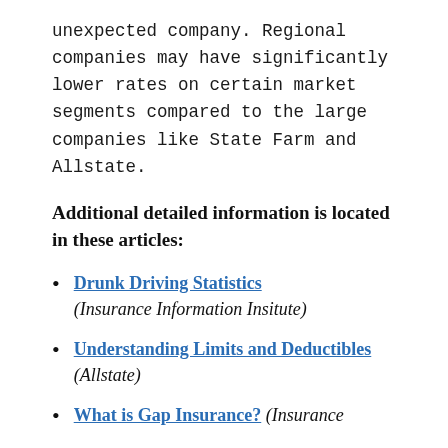unexpected company. Regional companies may have significantly lower rates on certain market segments compared to the large companies like State Farm and Allstate.
Additional detailed information is located in these articles:
Drunk Driving Statistics (Insurance Information Insitute)
Understanding Limits and Deductibles (Allstate)
What is Gap Insurance? (Insurance